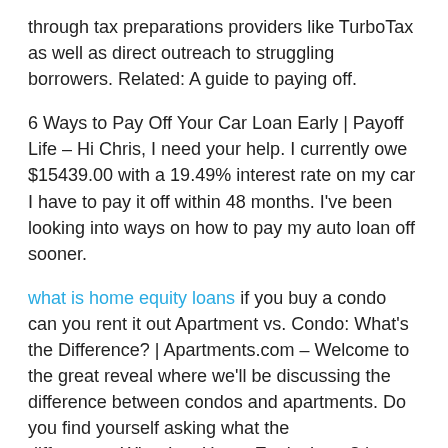through tax preparations providers like TurboTax as well as direct outreach to struggling borrowers. Related: A guide to paying off.
6 Ways to Pay Off Your Car Loan Early | Payoff Life – Hi Chris, I need your help. I currently owe $15439.00 with a 19.49% interest rate on my car I have to pay it off within 48 months. I've been looking into ways on how to pay my auto loan off sooner.
what is home equity loans if you buy a condo can you rent it out Apartment vs. Condo: What's the Difference? | Apartments.com – Welcome to the great reveal where we'll be discussing the difference between condos and apartments. Do you find yourself asking what the differences.What Is a Home Equity Loan? | ^GOBankingRates – A home equity loan is a type of loan that essentially serves as a second mortgage. It allows